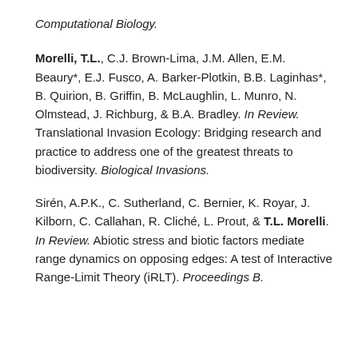Computational Biology.
Morelli, T.L., C.J. Brown-Lima, J.M. Allen, E.M. Beaury*, E.J. Fusco, A. Barker-Plotkin, B.B. Laginhas*, B. Quirion, B. Griffin, B. McLaughlin, L. Munro, N. Olmstead, J. Richburg, & B.A. Bradley. In Review. Translational Invasion Ecology: Bridging research and practice to address one of the greatest threats to biodiversity. Biological Invasions.
Sirén, A.P.K., C. Sutherland, C. Bernier, K. Royar, J. Kilborn, C. Callahan, R. Cliché, L. Prout, & T.L. Morelli. In Review. Abiotic stress and biotic factors mediate range dynamics on opposing edges: A test of Interactive Range-Limit Theory (iRLT). Proceedings B.